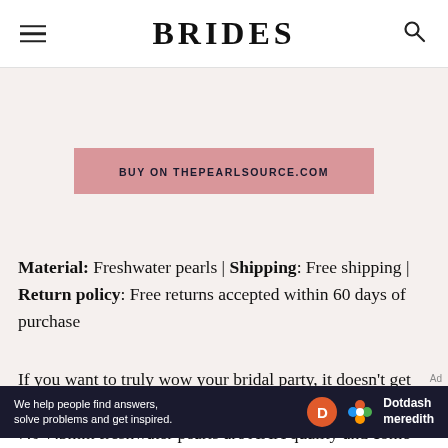BRIDES
[Figure (other): Pink/mauve button with text BUY ON THEPEARLSOURCE.COM]
Material: Freshwater pearls | Shipping: Free shipping | Return policy: Free returns accepted within 60 days of purchase
If you want to truly wow your bridal party, it doesn't get more chic or sophisticated than a strand of pearls. These 7.0-7.5mm freshwater pearls are AAA quality and come
[Figure (logo): Dotdash Meredith advertisement banner: 'We help people find answers, solve problems and get inspired.' with Dotdash Meredith logo]